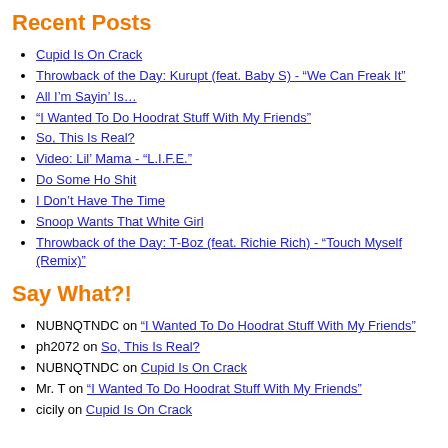Recent Posts
Cupid Is On Crack
Throwback of the Day: Kurupt (feat. Baby S) - “We Can Freak It”
All I’m Sayin’ Is…
“I Wanted To Do Hoodrat Stuff With My Friends”
So, This Is Real?
Video: Lil’ Mama - “L.I.F.E.”
Do Some Ho Shit
I Don’t Have The Time
Snoop Wants That White Girl
Throwback of the Day: T-Boz (feat. Richie Rich) - “Touch Myself (Remix)”
Say What?!
NUBNQTNDC on “I Wanted To Do Hoodrat Stuff With My Friends”
ph2072 on So, This Is Real?
NUBNQTNDC on Cupid Is On Crack
Mr. T on “I Wanted To Do Hoodrat Stuff With My Friends”
cicily on Cupid Is On Crack